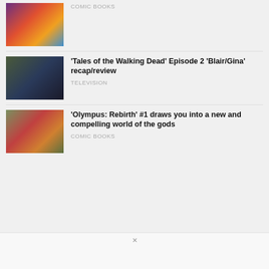[Figure (photo): Thumbnail image for a comic books article, colorful illustration]
COMIC BOOKS
[Figure (photo): Thumbnail image for Tales of the Walking Dead TV episode article showing two actors]
'Tales of the Walking Dead' Episode 2 'Blair/Gina' recap/review
TELEVISION
[Figure (photo): Thumbnail image for Olympus: Rebirth comic book article, fantasy artwork]
'Olympus: Rebirth' #1 draws you into a new and compelling world of the gods
COMIC BOOKS